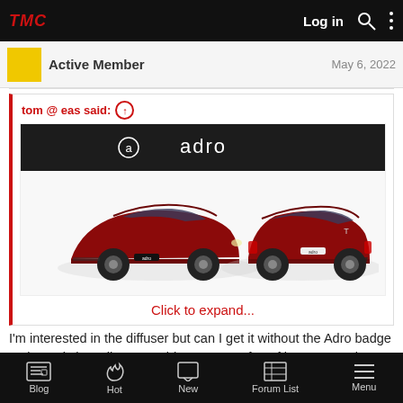TMC  Log in  [search] [menu]
Active Member   May 6, 2022
tom @ eas said: ↑
[Figure (photo): Adro branded advertisement showing two red Tesla Model 3 cars with body kit modifications — one from the front-left angle and one from the rear-right angle, on a white background with the Adro logo banner at top.]
Click to expand...
I'm interested in the diffuser but can I get it without the Adro badge on it? Or is it easily removable? I'm not a fan of logos on carbon fiber products. Thanks.
Blog  Hot  New  Forum List  Menu